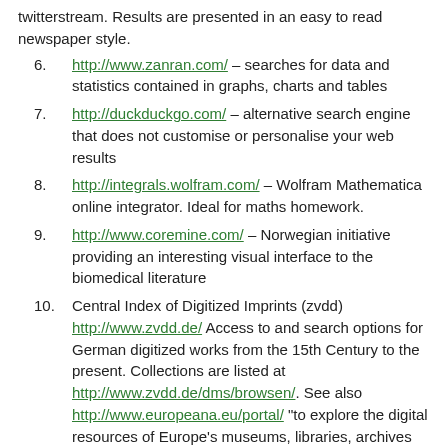twitterstream. Results are presented in an easy to read newspaper style.
6. http://www.zanran.com/ – searches for data and statistics contained in graphs, charts and tables
7. http://duckduckgo.com/ – alternative search engine that does not customise or personalise your web results
8. http://integrals.wolfram.com/ – Wolfram Mathematica online integrator. Ideal for maths homework.
9. http://www.coremine.com/ – Norwegian initiative providing an interesting visual interface to the biomedical literature
10. Central Index of Digitized Imprints (zvdd) http://www.zvdd.de/ Access to and search options for German digitized works from the 15th Century to the present. Collections are listed at http://www.zvdd.de/dms/browsen/. See also http://www.europeana.eu/portal/ "to explore the digital resources of Europe's museums, libraries, archives and audio-visual collections"